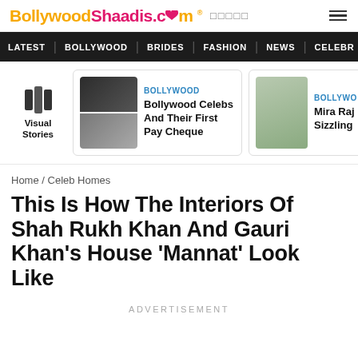BollywoodShaadis.com
LATEST | BOLLYWOOD | BRIDES | FASHION | NEWS | CELEBR
[Figure (screenshot): Visual Stories section with two article cards: 'Bollywood Celebs And Their First Pay Cheque' and 'Mira Raj Sizzling']
Home / Celeb Homes
This Is How The Interiors Of Shah Rukh Khan And Gauri Khan's House 'Mannat' Look Like
ADVERTISEMENT